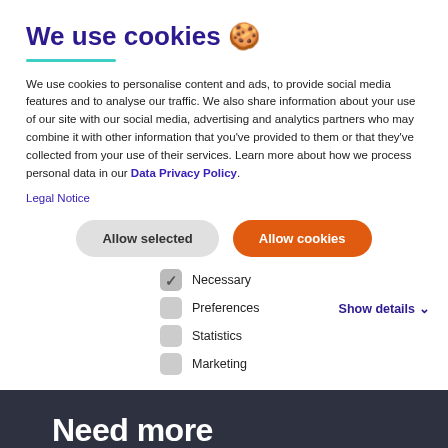We use cookies 🍪
We use cookies to personalise content and ads, to provide social media features and to analyse our traffic. We also share information about your use of our site with our social media, advertising and analytics partners who may combine it with other information that you've provided to them or that they've collected from your use of their services. Learn more about how we process personal data in our Data Privacy Policy.
Legal Notice
[Figure (screenshot): Cookie consent dialog with 'Allow selected' (gray) and 'Allow cookies' (orange) buttons, and checkboxes for Necessary (checked), Preferences, Statistics, Marketing, plus 'Show details' link]
Need more